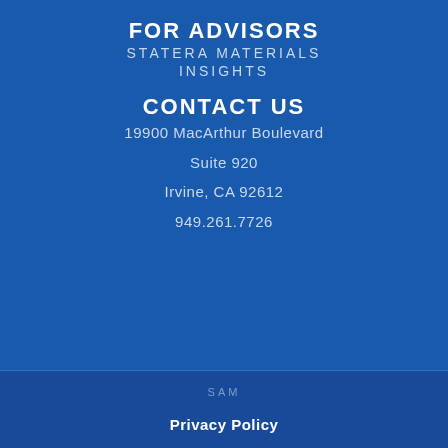FOR ADVISORS
STATERA MATERIALS
INSIGHTS
CONTACT US
19900 MacArthur Boulevard
Suite 920
Irvine, CA 92612
949.261.7726
SAM
Privacy Policy